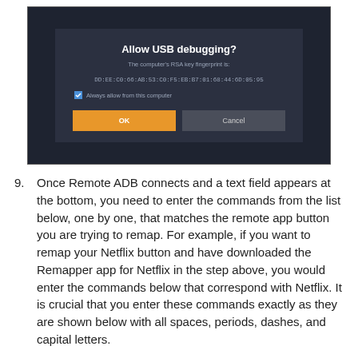[Figure (screenshot): Android USB debugging dialog on dark background showing 'Allow USB debugging?' title, RSA key fingerprint DD:EE:C0:66:AB:53:C0:F5:EB:B7:01:68:44:6D:05:95, a checked 'Always allow from this computer' checkbox, and OK and Cancel buttons.]
9. Once Remote ADB connects and a text field appears at the bottom, you need to enter the commands from the list below, one by one, that matches the remote app button you are trying to remap. For example, if you want to remap your Netflix button and have downloaded the Remapper app for Netflix in the step above, you would enter the commands below that correspond with Netflix. It is crucial that you enter these commands exactly as they are shown below with all spaces, periods, dashes, and capital letters.